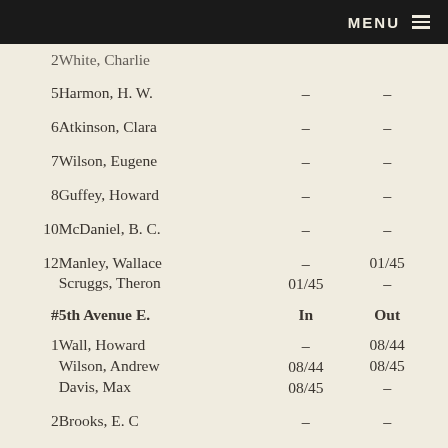MENU
2  White, Charlie  —  —
5  Harmon, H. W.  —  —
6  Atkinson, Clara  —  —
7  Wilson, Eugene  —  —
8  Guffey, Howard  —  —
10  McDaniel, B. C.  —  —
12  Manley, Wallace  —  01/45
    Scruggs, Theron  01/45  —
#  5th Avenue E.  In  Out
1  Wall, Howard  —  08/44
   Wilson, Andrew  08/44  08/45
   Davis, Max  08/45  —
2  Brooks, E. C  —  —
3  Hamrick, Jack  —  10/45